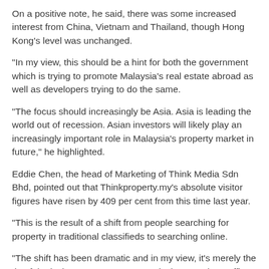On a positive note, he said, there was some increased interest from China, Vietnam and Thailand, though Hong Kong's level was unchanged.
"In my view, this should be a hint for both the government which is trying to promote Malaysia's real estate abroad as well as developers trying to do the same.
"The focus should increasingly be Asia. Asia is leading the world out of recession. Asian investors will likely play an increasingly important role in Malaysia's property market in future," he highlighted.
Eddie Chen, the head of Marketing of Think Media Sdn Bhd, pointed out that Thinkproperty.my's absolute visitor figures have risen by 409 per cent from this time last year.
"This is the result of a shift from people searching for property in traditional classifieds to searching online.
"The shift has been dramatic and in my view, it's merely the tip of the iceberg. We are conservatively expecting traffic to